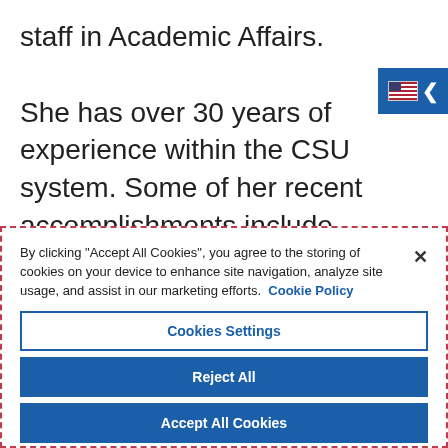staff in Academic Affairs.

She has over 30 years of experience within the CSU system. Some of her recent accomplishments include implementing a number of innovations that have led to significant recognition, including: securing the Governor's
[Figure (other): Language selector button with US flag icon and left chevron arrow, blue background, positioned top right]
By clicking "Accept All Cookies", you agree to the storing of cookies on your device to enhance site navigation, analyze site usage, and assist in our marketing efforts. Cookie Policy
Cookies Settings
Reject All
Accept All Cookies